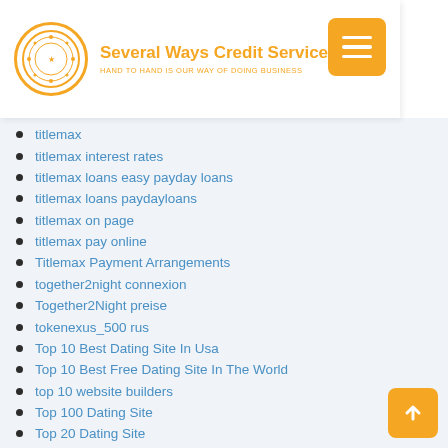Several Ways Credit Services — HAND TO HAND IS OUR WAY OF DOING BUSINESS
titlemax
titlemax interest rates
titlemax loans easy payday loans
titlemax loans paydayloans
titlemax on page
titlemax pay online
Titlemax Payment Arrangements
together2night connexion
Together2Night preise
tokenexus_500 rus
Top 10 Best Dating Site In Usa
Top 10 Best Free Dating Site In The World
top 10 website builders
Top 100 Dating Site
Top 20 Dating Site
top brides
Top Dating Seiten preise
Top Free Online Dating Sites
top hookup sites